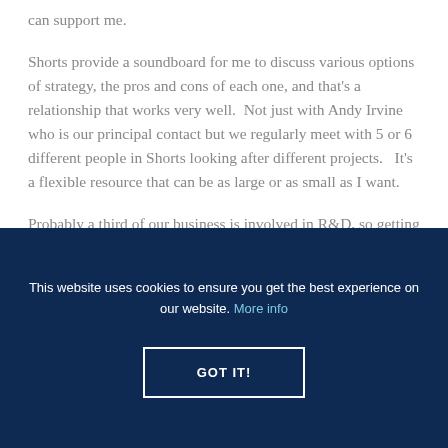can support me.
Shorts provide a soundboard for me to discuss various options of strategy, the pros and cons of each one, and that's a relationship that works very well.  Not just with Andy Irvine who is our principal contact but we regularly meet with 5 or 6 different people in Shorts looking after different projects.   It's a flexible resource that can be as large or as small as I want.
Probably a third of our business is involved in R&D, so getting our R&D tax credit strategy correct is very
This website uses cookies to ensure you get the best experience on our website. More info
GOT IT!